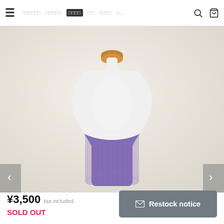≡  □□□□□□  □□□□□  □□□□  □□  □□□□  □...  🔍  🛒
[Figure (photo): A white dress-form mannequin torso on a light beige/cream background. The mannequin has a wooden-capped neck. It is wearing a purple/violet knitted tube-top or belly warmer covering the lower torso and waist area.]
¥3,500 tax included
SOLD OUT
✉ Restock notice